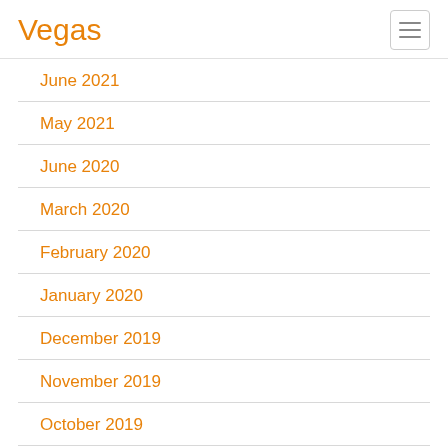Vegas
June 2021
May 2021
June 2020
March 2020
February 2020
January 2020
December 2019
November 2019
October 2019